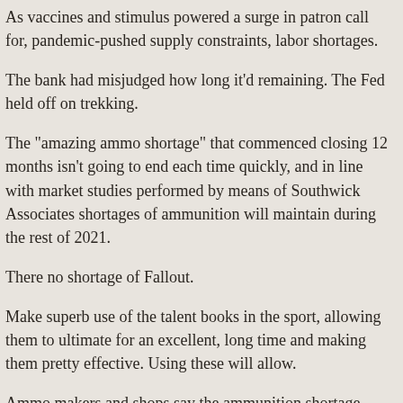As vaccines and stimulus powered a surge in patron call for, pandemic-pushed supply constraints, labor shortages.
The bank had misjudged how long it'd remaining. The Fed held off on trekking.
The "amazing ammo shortage" that commenced closing 12 months isn't going to end each time quickly, and in line with market studies performed by means of Southwick Associates shortages of ammunition will maintain during the rest of 2021.
There no shortage of Fallout.
Make superb use of the talent books in the sport, allowing them to ultimate for an excellent, long time and making them pretty effective. Using these will allow.
Ammo makers and shops say the ammunition shortage that's plagued the industry for over a year received't solve anytime soon. An surprising